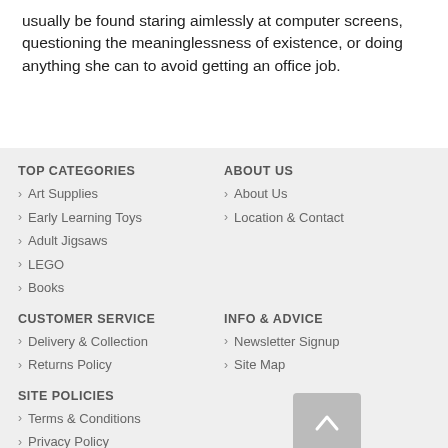usually be found staring aimlessly at computer screens, questioning the meaninglessness of existence, or doing anything she can to avoid getting an office job.
TOP CATEGORIES
Art Supplies
Early Learning Toys
Adult Jigsaws
LEGO
Books
ABOUT US
About Us
Location & Contact
CUSTOMER SERVICE
Delivery & Collection
Returns Policy
INFO & ADVICE
Newsletter Signup
Site Map
SITE POLICIES
Terms & Conditions
Privacy Policy